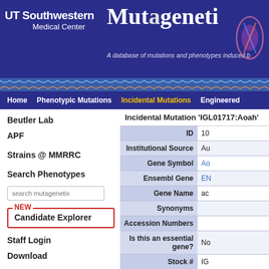[Figure (logo): UT Southwestern Medical Center and Mutagenetix logos on dark blue background with subtitle: A database of mutations and phenotypes induced b[y]]
Home | Phenotypic Mutations | Incidental Mutations | Engineered
Incidental Mutation 'IGL01717:Aoah'
| Field | Value |
| --- | --- |
| ID | 10 |
| Institutional Source | Au |
| Gene Symbol | Ao |
| Ensembl Gene | EN |
| Gene Name | ac |
| Synonyms |  |
| Accession Numbers |  |
| Is this an essential gene? | No |
| Stock # | IG |
| Quality Score |  |
Beutler Lab
APF
Strains @ MMRRC
Search Phenotypes
Candidate Explorer
Staff Login
Download